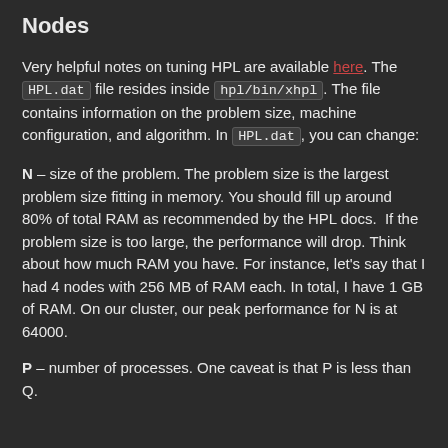Nodes
Very helpful notes on tuning HPL are available here. The HPL.dat file resides inside hpl/bin/xhpl. The file contains information on the problem size, machine configuration, and algorithm. In HPL.dat, you can change:
N – size of the problem. The problem size is the largest problem size fitting in memory. You should fill up around 80% of total RAM as recommended by the HPL docs. If the problem size is too large, the performance will drop. Think about how much RAM you have. For instance, let's say that I had 4 nodes with 256 MB of RAM each. In total, I have 1 GB of RAM. On our cluster, our peak performance for N is at 64000.
P – number of processes. One caveat is that P is less than Q.